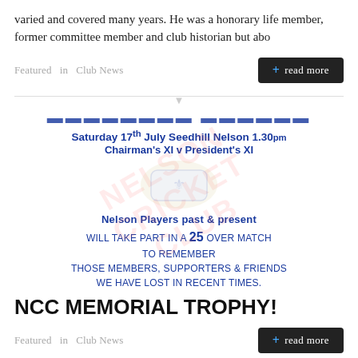varied and covered many years.  He was a honorary life member, former committee member and club historian but abo
Featured   in  Club News
+ read more
[Figure (other): NCC Memorial Trophy flyer with club crest watermark. Text includes: MEMORIAL TROPHY, Saturday 17th July Seedhill Nelson 1.30pm, Chairman's XI v President's XI, Nelson Players past & present will take part in a 25 over match to remember those members, supporters & friends we have lost in recent times.]
NCC MEMORIAL TROPHY!
Featured   in  Club News
+ read more